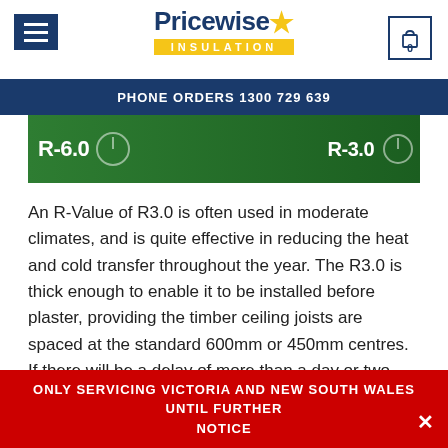[Figure (logo): Pricewise Insulation logo with yellow star and gold INSULATION bar]
PHONE ORDERS 1300 729 639
[Figure (photo): Green insulation batts packaging showing R-6.0 and R-3.0 labels with a person in the background]
An R-Value of R3.0 is often used in moderate climates, and is quite effective in reducing the heat and cold transfer throughout the year. The R3.0 is thick enough to enable it to be installed before plaster, providing the timber ceiling joists are spaced at the standard 600mm or 450mm centres. If there will be a delay of more than a day or two between installing the insulation and the plaster
ONLY SERVICING VICTORIA AND NEW SOUTH WALES UNTIL FURTHER NOTICE